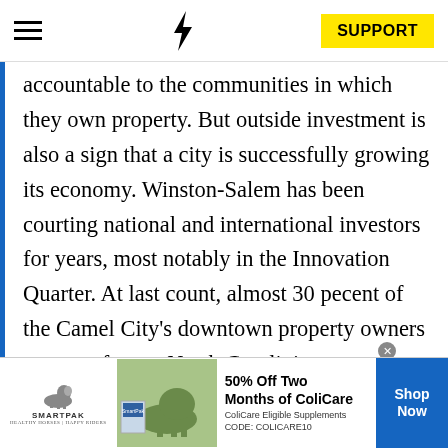SUPPORT
accountable to the communities in which they own property. But outside investment is also a sign that a city is successfully growing its economy. Winston-Salem has been courting national and international investors for years, most notably in the Innovation Quarter. At last count, almost 30 pecent of the Camel City's downtown property owners are out of state. North Carolinians own the rest, 58 percent of
[Figure (photo): SmartPak advertisement banner with horse and rider image, 50% Off Two Months of ColiCare offer, ColiCare Eligible Supplements, CODE: COLICARE10, Shop Now button]